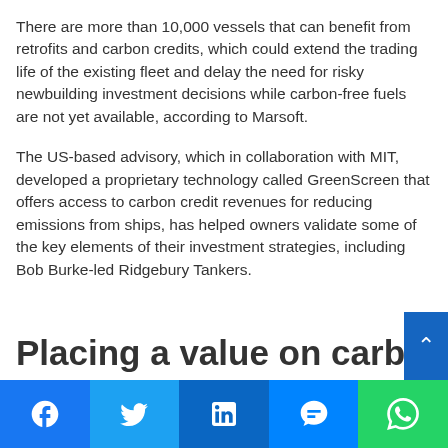There are more than 10,000 vessels that can benefit from retrofits and carbon credits, which could extend the trading life of the existing fleet and delay the need for risky newbuilding investment decisions while carbon-free fuels are not yet available, according to Marsoft.
The US-based advisory, which in collaboration with MIT, developed a proprietary technology called GreenScreen that offers access to carbon credit revenues for reducing emissions from ships, has helped owners validate some of the key elements of their investment strategies, including Bob Burke-led Ridgebury Tankers.
Placing a value on carbon is key